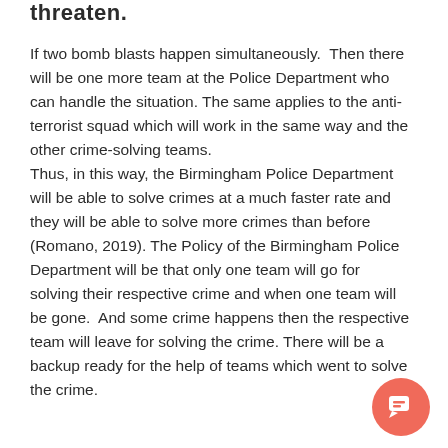threaten.
If two bomb blasts happen simultaneously.  Then there will be one more team at the Police Department who can handle the situation. The same applies to the anti-terrorist squad which will work in the same way and the other crime-solving teams.
Thus, in this way, the Birmingham Police Department will be able to solve crimes at a much faster rate and they will be able to solve more crimes than before (Romano, 2019). The Policy of the Birmingham Police Department will be that only one team will go for solving their respective crime and when one team will be gone.  And some crime happens then the respective team will leave for solving the crime. There will be a backup ready for the help of teams which went to solve the crime.